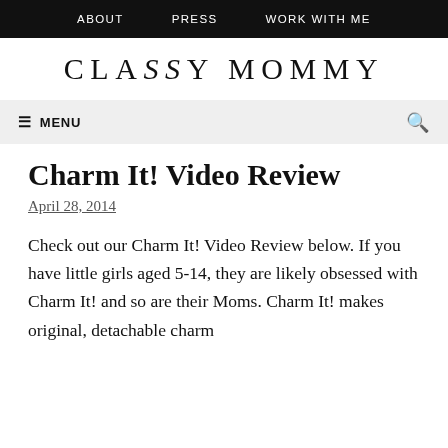ABOUT   PRESS   WORK WITH ME
CLASSY MOMMY
≡ MENU  🔍
Charm It! Video Review
April 28, 2014
Check out our Charm It! Video Review below. If you have little girls aged 5-14, they are likely obsessed with Charm It! and so are their Moms. Charm It! makes original, detachable charm